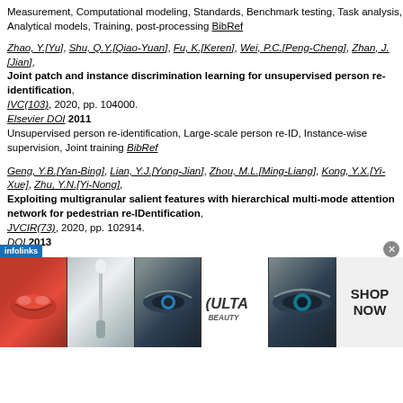Measurement, Computational modeling, Standards, Benchmark testing, Task analysis, Analytical models, Training, post-processing BibRef
Zhao, Y.[Yu], Shu, Q.Y.[Qiao-Yuan], Fu, K.[Keren], Wei, P.C.[Peng-Cheng], Zhan, J.[Jian], Joint patch and instance discrimination learning for unsupervised person re-identification, IVC(103), 2020, pp. 104000. Elsevier DOI 2011 Unsupervised person re-identification, Large-scale person re-ID, Instance-wise supervision, Joint training BibRef
Geng, Y.B.[Yan-Bing], Lian, Y.J.[Yong-Jian], Zhou, M.L.[Ming-Liang], Kong, Y.X.[Yi-Xue], Zhu, Y.N.[Yi-Nong], Exploiting multigranular salient features with hierarchical multi-mode attention network for pedestrian re-IDentification, JVCIR(73), 2020, pp. 102914. DOI 2013
[Figure (photo): Advertisement banner for ULTA beauty products showing makeup images (lips, brush, eye makeup) with 'SHOP NOW' text and infolinks label]